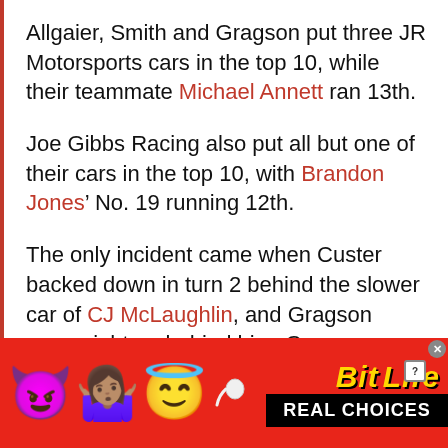Allgaier, Smith and Gragson put three JR Motorsports cars in the top 10, while their teammate Michael Annett ran 13th.
Joe Gibbs Racing also put all but one of their cars in the top 10, with Brandon Jones' No. 19 running 12th.
The only incident came when Custer backed down in turn 2 behind the slower car of CJ McLaughlin, and Gragson came right up behind him. Gragson made slight contact with Custer's bumper, but no damage was apparent.
[Figure (other): Advertisement banner for BitLife mobile game. Red background with devil emoji, woman shrugging emoji, angel emoji, sperm emoji, BitLife logo in yellow italic text, and 'REAL CHOICES' in white text on black background. Close button (X) and help button (?) visible in top right.]